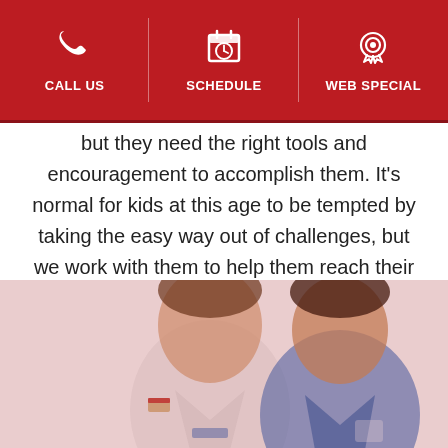CALL US | SCHEDULE | WEB SPECIAL
but they need the right tools and encouragement to accomplish them. It's normal for kids at this age to be tempted by taking the easy way out of challenges, but we work with them to help them reach their full physical and intellectual potential.
[Figure (photo): Two children in martial arts / athletic gear smiling at the camera, overlaid with a light red tint. One wears a white taekwondo uniform with a flag patch, the other wears a blue athletic jacket.]